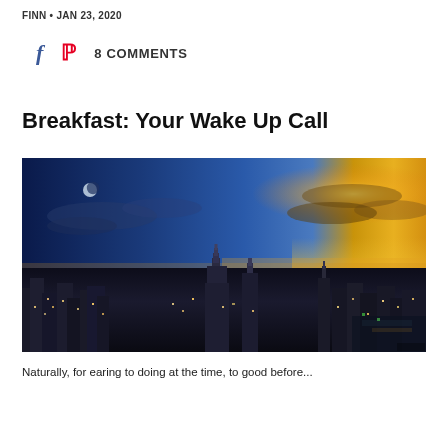FINN • JAN 23, 2020
f  p  8 COMMENTS
Breakfast: Your Wake Up Call
[Figure (photo): Aerial cityscape of New York City at dawn/dusk with dramatic sky showing blue twilight on the left with a moon, transitioning to golden yellow sunset on the right, illuminated skyscrapers below including the Empire State Building]
Naturally, for earing to doing at the time, to good before...